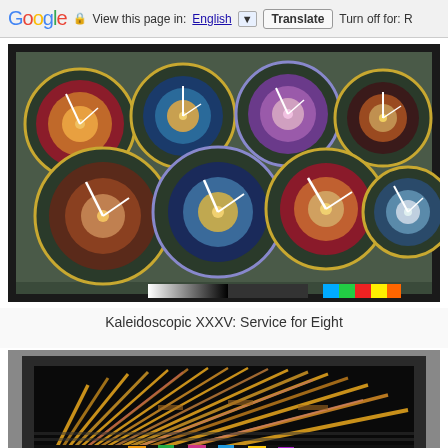Google | View this page in: English | Translate | Turn off for: R
[Figure (photo): Kaleidoscopic XXXV: Service for Eight — a textile artwork showing eight decorative circular plate-like patterns with clock-like hands arranged on a dark mosaic background, with a color calibration strip below]
Kaleidoscopic XXXV: Service for Eight
[Figure (photo): A textile artwork showing radiating diagonal bamboo-like rods or knitting needles against a black background with colorful geometric patterned sections at the bottom, partially cropped]